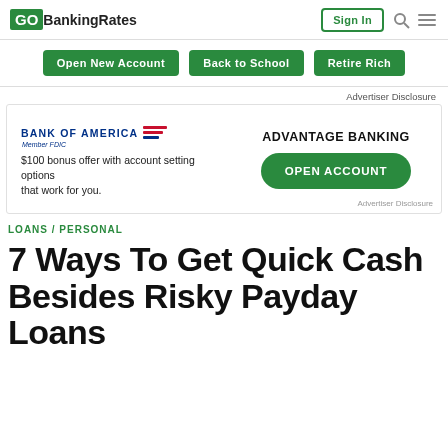GOBankingRates | Sign In
Open New Account | Back to School | Retire Rich
Advertiser Disclosure
[Figure (other): Bank of America advertisement banner with logo, '$100 bonus offer with account setting options that work for you.' and green OPEN ACCOUNT button under ADVANTAGE BANKING heading]
Advertiser Disclosure
LOANS / PERSONAL
7 Ways To Get Quick Cash Besides Risky Payday Loans